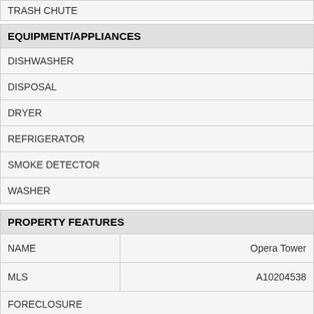| TRASH CHUTE |
| --- |
| EQUIPMENT/APPLIANCES |
| --- |
| DISHWASHER |
| DISPOSAL |
| DRYER |
| REFRIGERATOR |
| SMOKE DETECTOR |
| WASHER |
| PROPERTY FEATURES |
| --- |
| NAME | Opera Tower |
| MLS | A10204538 |
| FORECLOSURE |  |
| SHORT SALE |  |
| PARKING | 1 Space,Assigned |